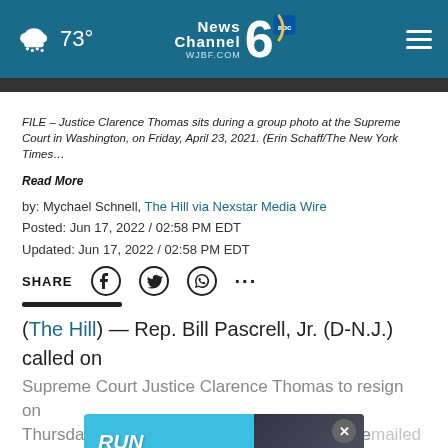73° News Channel 6 abc WJBF.COM
FILE – Justice Clarence Thomas sits during a group photo at the Supreme Court in Washington, on Friday, April 23, 2021. (Erin Schaff/The New York Times… Read More
by: Mychael Schnell, The Hill via Nexstar Media Wire
Posted: Jun 17, 2022 / 02:58 PM EDT
Updated: Jun 17, 2022 / 02:58 PM EDT
SHARE
(The Hill) — Rep. Bill Pascrell, Jr. (D-N.J.) called on Supreme Court Justice Clarence Thomas to resign on Thursday, after it was revealed that Thomas, emailed with conservative lawyer John